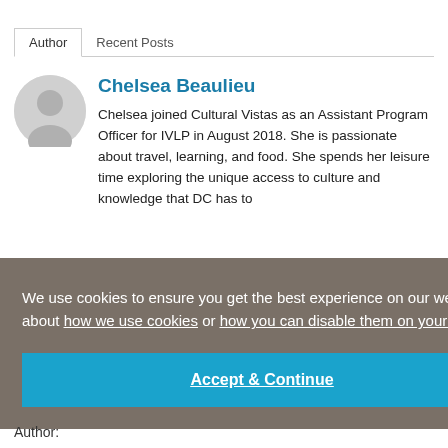Author   Recent Posts
Chelsea Beaulieu
Chelsea joined Cultural Vistas as an Assistant Program Officer for IVLP in August 2018. She is passionate about travel, learning, and food. She spends her leisure time exploring the unique access to culture and knowledge that DC has to
We use cookies to ensure you get the best experience on our website. Learn about how we use cookies or how you can disable them on your browser.
Accept & Continue
Author: